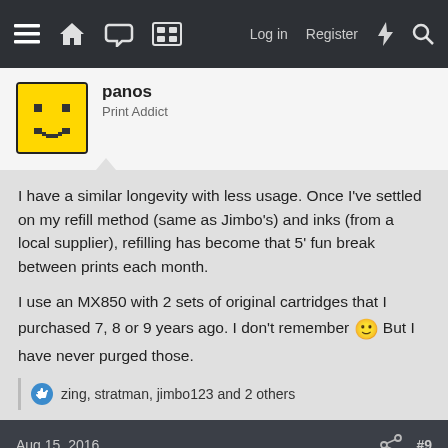Navigation bar with menu, home, chat, grid icons, Log in, Register, lightning bolt, search
panos
Print Addict
I have a similar longevity with less usage. Once I've settled on my refill method (same as Jimbo's) and inks (from a local supplier), refilling has become that 5' fun break between prints each month.

I use an MX850 with 2 sets of original cartridges that I purchased 7, 8 or 9 years ago. I don't remember 🙂 But I have never purged those.
zing, stratman, jimbo123 and 2 others
Aug 15, 2016  #9
barfl2
Print Addict